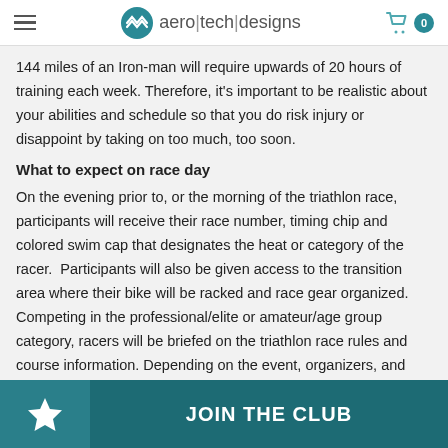aero|tech|designs
144 miles of an Iron-man will require upwards of 20 hours of training each week. Therefore, it’s important to be realistic about your abilities and schedule so that you do risk injury or disappoint by taking on too much, too soon.
What to expect on race day
On the evening prior to, or the morning of the triathlon race, participants will receive their race number, timing chip and colored swim cap that designates the heat or category of the racer.  Participants will also be given access to the transition area where their bike will be racked and race gear organized. Competing in the professional/elite or amateur/age group category, racers will be briefed on the triathlon race rules and course information. Depending on the event, organizers, and of participants, the race start will take place either as a art or waves/heats.